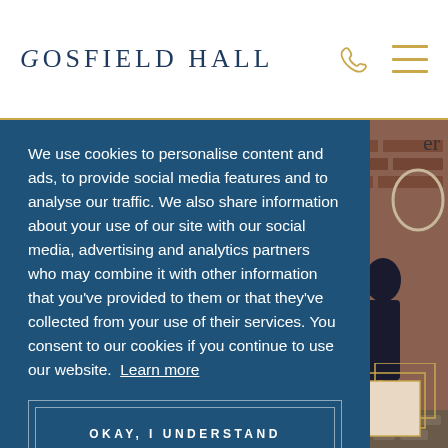GOSFIELD HALL
We use cookies to personalise content and ads, to provide social media features and to analyse our traffic. We also share information about your use of our site with our social media, advertising and analytics partners who may combine it with other information that you've provided to them or that they've collected from your use of their services. You consent to our cookies if you continue to use our website. Learn more
OKAY, I UNDERSTAND